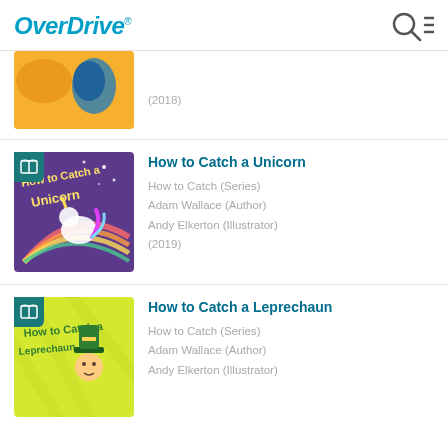OverDrive
[Figure (screenshot): Partially visible book cover (yellow/orange) at top]
(2018)
[Figure (illustration): Book cover: How to Catch a Unicorn - purple background with unicorn and rainbow]
How to Catch a Unicorn
How to Catch (Series)
Adam Wallace (Author)
Andy Elkerton (Illustrator)
(2019)
[Figure (illustration): Book cover: How to Catch a Leprechaun - yellow-green background]
How to Catch a Leprechaun
How to Catch (Series)
Adam Wallace (Author)
Andy Elkerton (Illustrator)